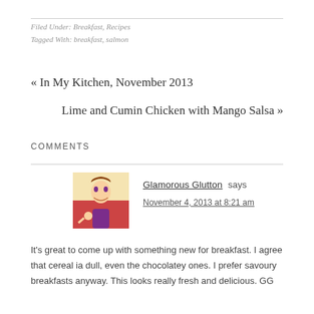Filed Under: Breakfast, Recipes
Tagged With: breakfast, salmon
« In My Kitchen, November 2013
Lime and Cumin Chicken with Mango Salsa »
COMMENTS
Glamorous Glutton says
November 4, 2013 at 8:21 am
It's great to come up with something new for breakfast. I agree that cereal ia dull, even the chocolatey ones. I prefer savoury breakfasts anyway. This looks really fresh and delicious. GG